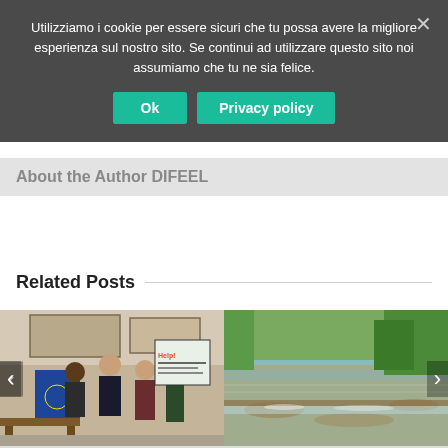Utilizziamo i cookie per essere sicuri che tu possa avere la migliore esperienza sul nostro sito. Se continui ad utilizzare questo sito noi assumiamo che tu ne sia felice.
Ok | Privacy policy
About the Author DIFEEL
Related Posts
[Figure (photo): Group of people indoors posing with a European Union flag and informational posters in the background]
[Figure (photo): Aerial view of a shallow river with rocky bed surrounded by green trees]